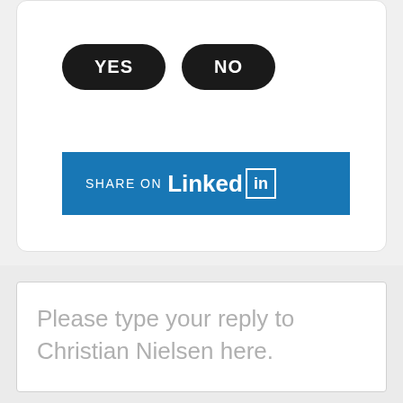[Figure (screenshot): YES and NO buttons as black pill-shaped buttons with white text]
[Figure (screenshot): Share on LinkedIn button in blue with LinkedIn logo]
Please type your reply to Christian Nielsen here.